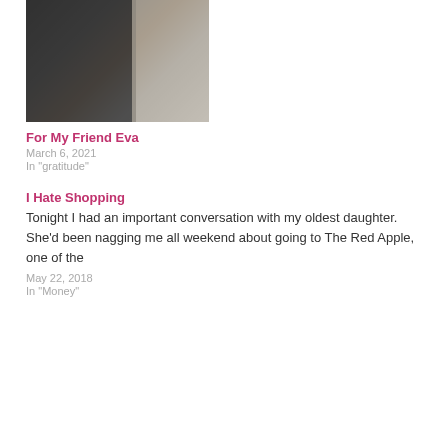[Figure (photo): A person in dark clothing holding a child in a white dress, indoor setting]
For My Friend Eva
March 6, 2021
In "gratitude"
I Hate Shopping
Tonight I had an important conversation with my oldest daughter. She'd been nagging me all weekend about going to The Red Apple, one of the
May 22, 2018
In "Money"